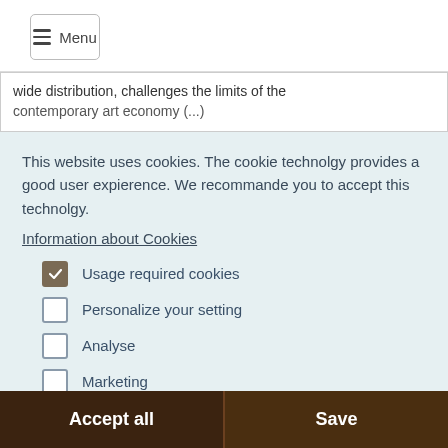Menu
wide distribution, challenges the limits of the contemporary art economy (...)
This website uses cookies. The cookie technolgy provides a good user expierence. We recommande you to accept this technolgy.
Information about Cookies
Usage required cookies
Personalize your setting
Analyse
Marketing
Unkategorized
Accept all
Save